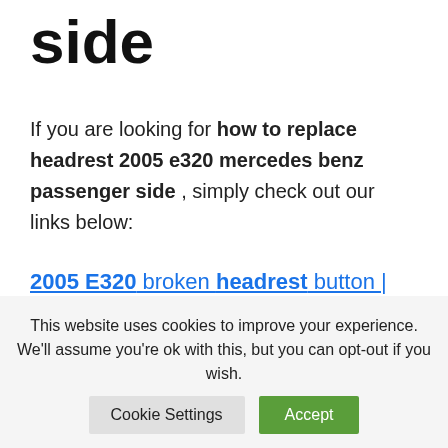side
If you are looking for how to replace headrest 2005 e320 mercedes benz passenger side , simply check out our links below:
2005 E320 broken headrest button | Mercedes–Benz Forum
25 Jun 2010 … Hi, I am fairly new to this forum...
This website uses cookies to improve your experience. We'll assume you're ok with this, but you can opt-out if you wish.